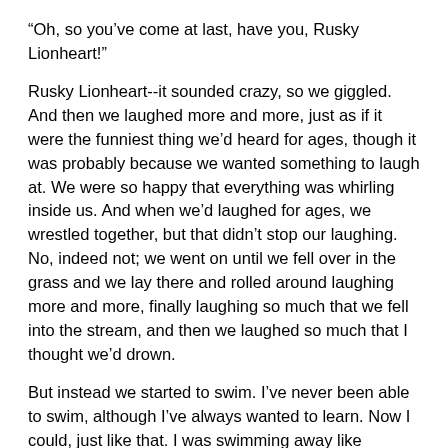“Oh, so you’ve come at last, have you, Rusky Lionheart!”
Rusky Lionheart--it sounded crazy, so we giggled. And then we laughed more and more, just as if it were the funniest thing we’d heard for ages, though it was probably because we wanted something to laugh at. We were so happy that everything was whirling inside us. And when we’d laughed for ages, we wrestled together, but that didn’t stop our laughing. No, indeed not; we went on until we fell over in the grass and we lay there and rolled around laughing more and more, finally laughing so much that we fell into the stream, and then we laughed so much that I thought we’d drown.
But instead we started to swim. I’ve never been able to swim, although I’ve always wanted to learn. Now I could, just like that. I was swimming away like anything.
“Jonathan, I can swim!” I shouted.
“Yes, of course you can swim,” said Jonathan.
And then I suddenly though of something.
“Jonathan, have you noticed something?” I said. “I’ve